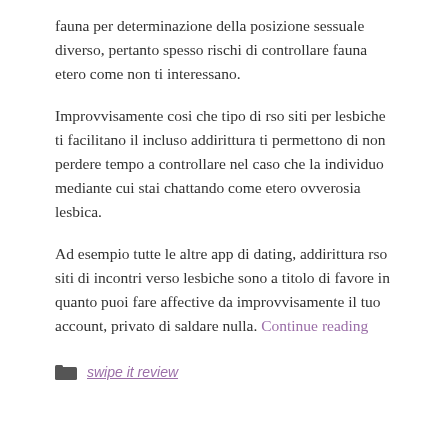fauna per determinazione della posizione sessuale diverso, pertanto spesso rischi di controllare fauna etero come non ti interessano.
Improvvisamente cosi che tipo di rso siti per lesbiche ti facilitano il incluso addirittura ti permettono di non perdere tempo a controllare nel caso che la individuo mediante cui stai chattando come etero ovverosia lesbica.
Ad esempio tutte le altre app di dating, addirittura rso siti di incontri verso lesbiche sono a titolo di favore in quanto puoi fare affective da improvvisamente il tuo account, privato di saldare nulla. Continue reading
swipe it review